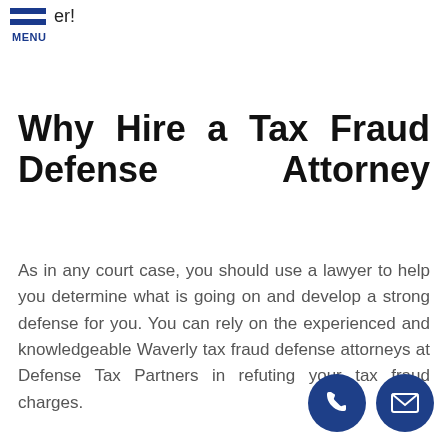er! MENU
Why Hire a Tax Fraud Defense Attorney
As in any court case, you should use a lawyer to help you determine what is going on and develop a strong defense for you. You can rely on the experienced and knowledgeable Waverly tax fraud defense attorneys at Defense Tax Partners in refuting your tax fraud charges.
[Figure (illustration): Two circular dark blue buttons at bottom right: a phone icon and an envelope/email icon]